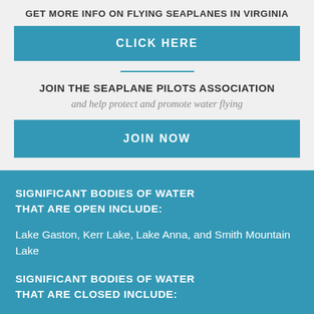GET MORE INFO ON FLYING SEAPLANES IN VIRGINIA
CLICK HERE
JOIN THE SEAPLANE PILOTS ASSOCIATION
and help protect and promote water flying
JOIN NOW
SIGNIFICANT BODIES OF WATER THAT ARE OPEN INCLUDE:
Lake Gaston, Kerr Lake, Lake Anna, and Smith Mountain Lake
SIGNIFICANT BODIES OF WATER THAT ARE CLOSED INCLUDE: